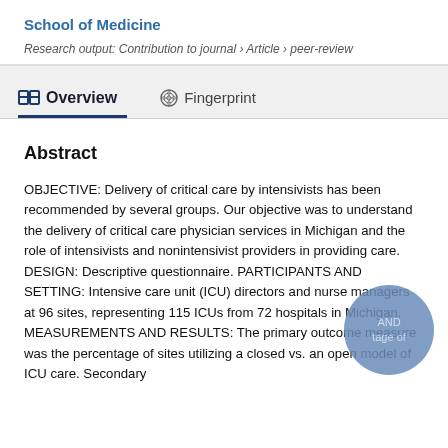School of Medicine
Research output: Contribution to journal › Article › peer-review
Overview   Fingerprint
Abstract
OBJECTIVE: Delivery of critical care by intensivists has been recommended by several groups. Our objective was to understand the delivery of critical care physician services in Michigan and the role of intensivists and nonintensivist providers in providing care. DESIGN: Descriptive questionnaire. PARTICIPANTS AND SETTING: Intensive care unit (ICU) directors and nurse managers at 96 sites, representing 115 ICUs from 72 hospitals in Michigan. MEASUREMENTS AND RESULTS: The primary outcome measure was the percentage of sites utilizing a closed vs. an open model of ICU care. Secondary